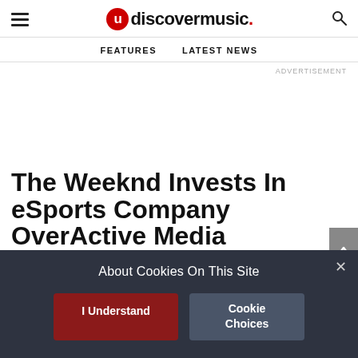udiscovermusic.
FEATURES   LATEST NEWS
ADVERTISEMENT
The Weeknd Invests In eSports Company OverActive Media
The Weeknd is the latest artist to get in on the eSports trend, becoming a part owner of the Toronto-based
About Cookies On This Site
I Understand
Cookie Choices